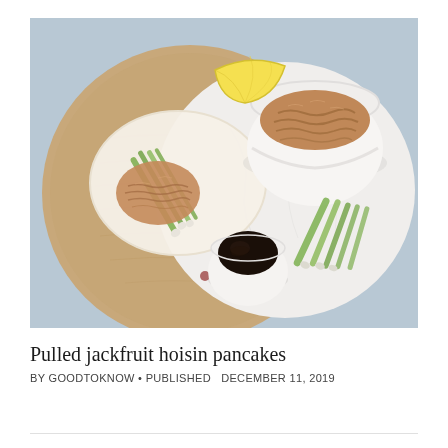[Figure (photo): Overhead shot of pulled jackfruit hoisin pancakes on a wooden and white marble board. Includes a thin pancake with jackfruit and green onions, a bowl of pulled jackfruit, a small dish of hoisin sauce, green onion strips, and a lemon wedge, all on a light blue background.]
Pulled jackfruit hoisin pancakes
BY GOODTOKNOW • PUBLISHED  DECEMBER 11, 2019